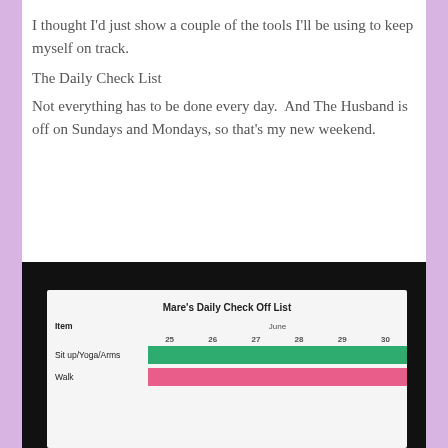I thought I'd just show a couple of the tools I'll be using to keep myself on track.
The Daily Check List
Not everything has to be done every day.  And The Husband is off on Sundays and Mondays, so that's my new weekend.
[Figure (photo): A photo of a handwritten daily check off list titled 'Mare's Daily Check Off List' with columns for Item and June dates (25, 26, 27, 28, 29, 30). Rows include 'Sit up/Yoga/Arms' (green cells) and 'Walk' (pink cells).]